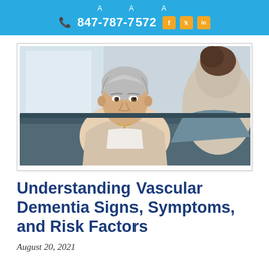A A A  847-787-7572
[Figure (photo): An older woman with short gray hair seated on a dark couch, speaking with a younger woman whose back is to the camera, in a clinical or home setting.]
Understanding Vascular Dementia Signs, Symptoms, and Risk Factors
August 20, 2021